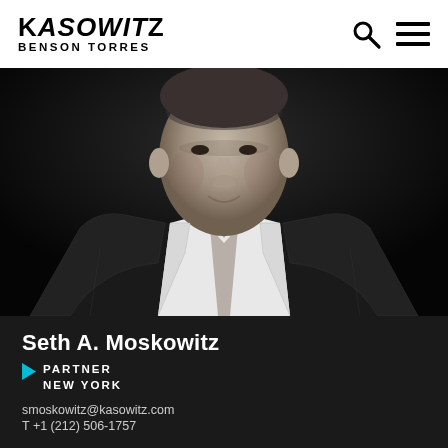KASOWITZ BENSON TORRES
[Figure (photo): Black and white professional headshot of Seth A. Moskowitz, a man in a dark pinstripe suit and tie, photographed from chest up against a black background.]
Seth A. Moskowitz
PARTNER
NEW YORK
smoskowitz@kasowitz.com
T +1 (212) 506-1757